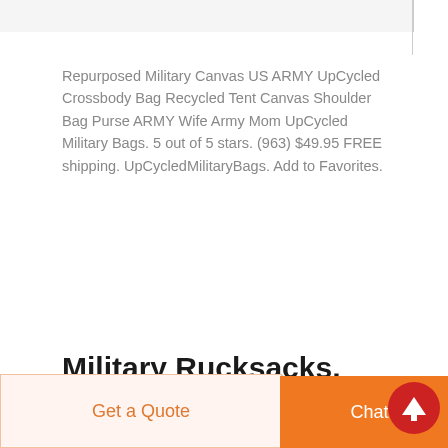[Figure (photo): Partial product image at top of page, cropped]
Repurposed Military Canvas US ARMY UpCycled Crossbody Bag Recycled Tent Canvas Shoulder Bag Purse ARMY Wife Army Mom UpCycled Military Bags. 5 out of 5 stars. (963) $49.95 FREE shipping. UpCycledMilitaryBags. Add to Favorites.
Military Rucksacks, Army
Get a Quote
Chat Now